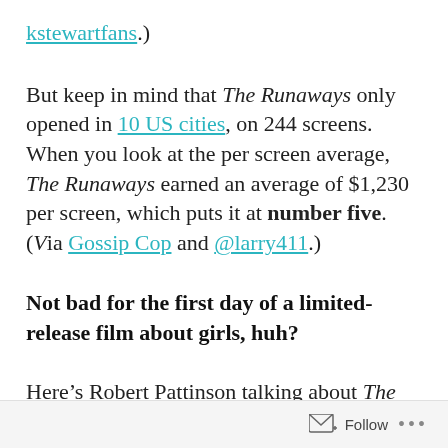kstewartfans.)
But keep in mind that The Runaways only opened in 10 US cities, on 244 screens. When you look at the per screen average, The Runaways earned an average of $1,230 per screen, which puts it at number five. (Via Gossip Cop and @larry411.)
Not bad for the first day of a limited-release film about girls, huh?
Here's Robert Pattinson talking about The Runaways on the red carpet during the London
Follow